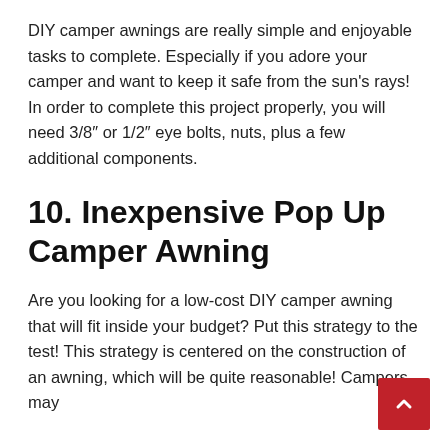DIY camper awnings are really simple and enjoyable tasks to complete. Especially if you adore your camper and want to keep it safe from the sun's rays! In order to complete this project properly, you will need 3/8'' or 1/2'' eye bolts, nuts, plus a few additional components.
10. Inexpensive Pop Up Camper Awning
Are you looking for a low-cost DIY camper awning that will fit inside your budget? Put this strategy to the test! This strategy is centered on the construction of an awning, which will be quite reasonable! Campers may